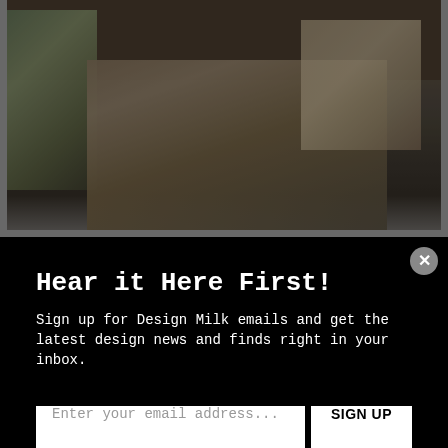[Figure (photo): Interior room photo showing a modern living/dining space with wooden ceiling beams, large windows with greenery outside, furniture, and artwork on walls. Image is partially dimmed by modal overlay.]
Hear it Here First!
Sign up for Design Milk emails and get the latest design news and finds right in your inbox.
Not right now.
especially to Italy. Probably because it feels like the opposite of what quarantine has been like. Take me to the Amalfi Coast, Venice, Capri, Rome, Tuscany… you get the